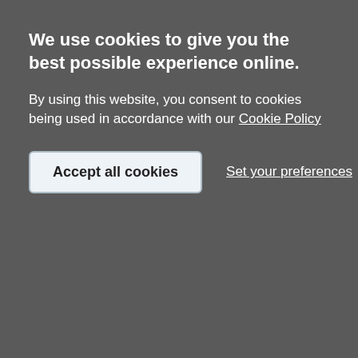We use cookies to give you the best possible experience online.
By using this website, you consent to cookies being used in accordance with our Cookie Policy
Accept all cookies
Set your preferences
[Figure (screenshot): Cookie consent overlay on a website. Dark grey overlay with white text showing cookie notice, an 'Accept all cookies' button and a 'Set your preferences' link. Behind the overlay is a partially visible webpage with grey card elements.]